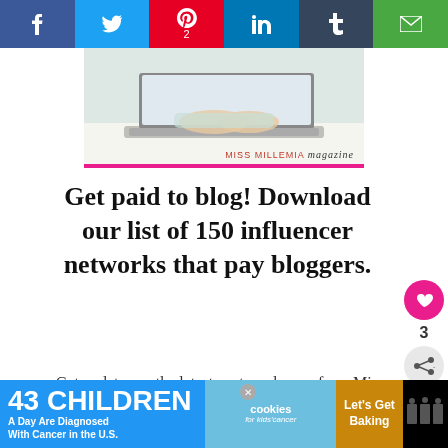[Figure (screenshot): Social share bar with Facebook, Twitter, Pinterest (2), LinkedIn, Tumblr, and email icons across top of page]
[Figure (photo): Person's hands typing on a laptop keyboard with Miss Millennia Magazine watermark]
Get paid to blog! Download our list of 150 influencer networks that pay bloggers.
Get updates on the latest posts and more from Miss Millennia Magazine straight to your inbox.
[Figure (screenshot): Bottom advertisement banner: 43 Children A Day Are Diagnosed With Cancer in the U.S. cookies for kids cancer Let's Get Baking]
[Figure (infographic): Side widget with heart icon showing 3 likes and share button]